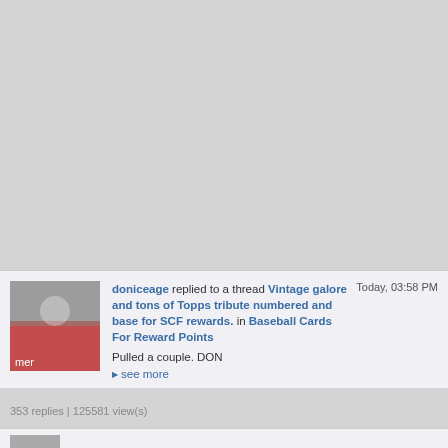[Figure (photo): Gray placeholder area at the top of the page]
doniceage replied to a thread Vintage galore and tons of Topps tribute numbered and base for SCF rewards. in Baseball Cards For Reward Points — Today, 03:58 PM — Pulled a couple. DON — see more
353 replies | 125581 view(s)
doniceage replied to a thread Local Card... Today, 02:52 PM